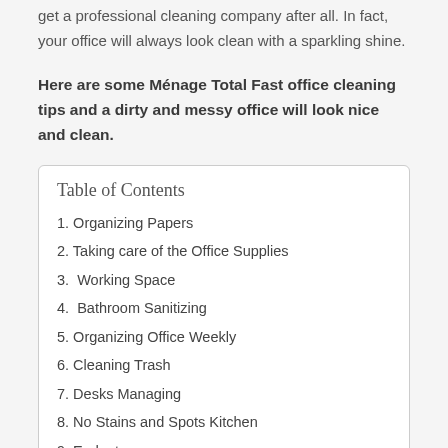get a professional cleaning company after all. In fact, your office will always look clean with a sparkling shine.
Here are some Ménage Total Fast office cleaning tips and a dirty and messy office will look nice and clean.
| Table of Contents |
| --- |
| 1. Organizing Papers |
| 2. Taking care of the Office Supplies |
| 3.  Working Space |
| 4.  Bathroom Sanitizing |
| 5. Organizing Office Weekly |
| 6. Cleaning Trash |
| 7. Desks Managing |
| 8. No Stains and Spots Kitchen |
| 9. Endnote |